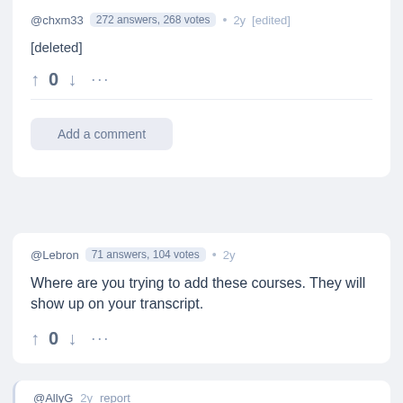@chxm33 272 answers, 268 votes • 2y [edited]
[deleted]
↑ 0 ↓ ...
Add a comment
@Lebron 71 answers, 104 votes • 2y
Where are you trying to add these courses. They will show up on your transcript.
↑ 0 ↓ ...
@AllyG 2y report